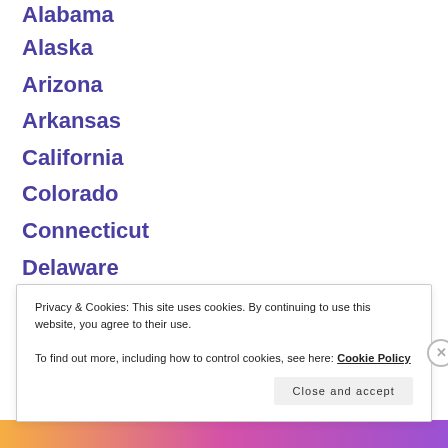Alabama
Alaska
Arizona
Arkansas
California
Colorado
Connecticut
Delaware
Florida
Georgia
Hawaii
Idaho
Privacy & Cookies: This site uses cookies. By continuing to use this website, you agree to their use.
To find out more, including how to control cookies, see here: Cookie Policy
Close and accept